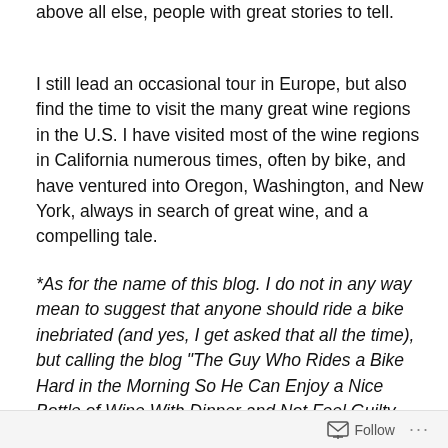above all else, people with great stories to tell.
I still lead an occasional tour in Europe, but also find the time to visit the many great wine regions in the U.S. I have visited most of the wine regions in California numerous times, often by bike, and have ventured into Oregon, Washington, and New York, always in search of great wine, and a compelling tale.
*As for the name of this blog. I do not in any way mean to suggest that anyone should ride a bike inebriated (and yes, I get asked that all the time), but calling the blog "The Guy Who Rides a Bike Hard in the Morning So He Can Enjoy a Nice Bottle of Wine With Dinner and Not Feel Guilty About It" was a bit cumbersome as a title. I have thought about changing it several times, but I have been counseled against it, once you have made a bit of a
Follow